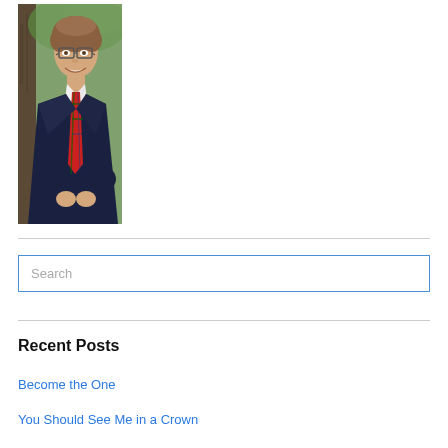[Figure (photo): Portrait photo of a young man with glasses and curly brown hair, wearing a dark navy suit with a red tartan tie, smiling, photographed outdoors near trees.]
Search
Recent Posts
Become the One
You Should See Me in a Crown